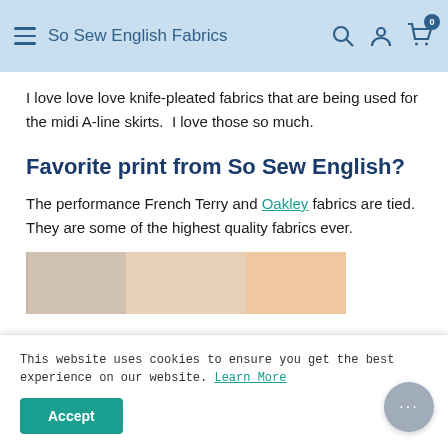So Sew English Fabrics
I love love love knife-pleated fabrics that are being used for the midi A-line skirts.  I love those so much.
Favorite print from So Sew English?
The performance French Terry and Oakley fabrics are tied.  They are some of the highest quality fabrics ever.
[Figure (photo): Partial view of a photo showing fabric/sewing scene]
This website uses cookies to ensure you get the best experience on our website. Learn More
Accept